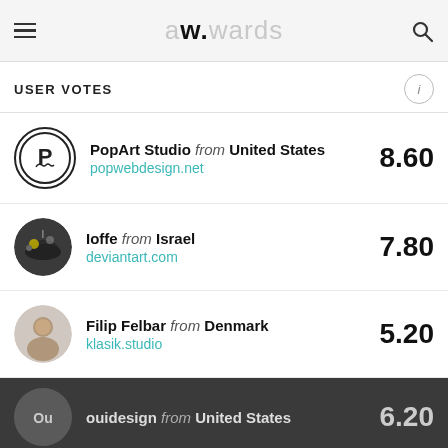awwwards — hamburger menu and search icon
USER VOTES
PopArt Studio from United States — popwebdesign.net — 8.60
Ioffe from Israel — deviantart.com — 7.80
Filip Felbar from Denmark — klasik.studio — 5.20
ouidesign from United States — 6.20
This website uses cookies to ensure you get the best experience on our website. Cookies Policy  GOT IT
Etienne Pharabot from France — 6.80